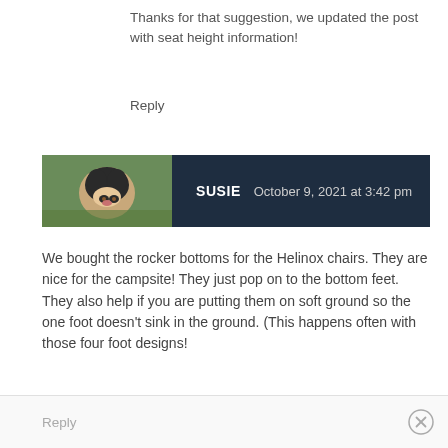Thanks for that suggestion, we updated the post with seat height information!
Reply
SUSIE   October 9, 2021 at 3:42 pm
We bought the rocker bottoms for the Helinox chairs. They are nice for the campsite! They just pop on to the bottom feet. They also help if you are putting them on soft ground so the one foot doesn't sink in the ground. (This happens often with those four foot designs!
Reply